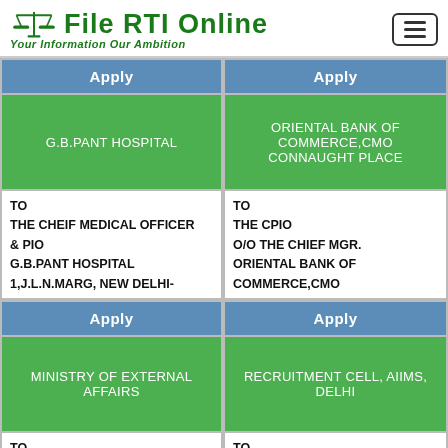File RTI Online — Your Information Our Ambition
| Apply | Apply |
| --- | --- |
| G.B.PANT HOSPITAL | ORIENTAL BANK OF COMMERCE,CMO CONNAUGHT PLACE |
| TO
THE CHEIF MEDICAL OFFICER & PIO
G.B.PANT HOSPITAL
1,J.L.N.MARG, NEW DELHI- | TO
THE CPIO
O/O THE CHIEF MGR.
ORIENTAL BANK OF COMMERCE,CMO |
| Apply | Apply |
| MINISTRY OF EXTERNAL AFFAIRS | RECRUITMENT CELL, AIIMS, DELHI |
| TO
THE CPIO | TO
THE CPIO & SENIOR |